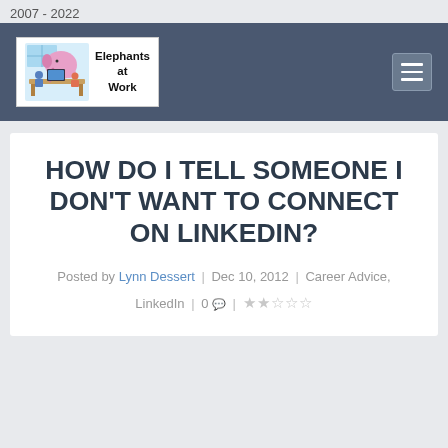2007 - 2022
[Figure (logo): Elephants at Work blog logo with cartoon illustration of people at a desk with a large elephant, and text 'Elephants at Work']
HOW DO I TELL SOMEONE I DON'T WANT TO CONNECT ON LINKEDIN?
Posted by Lynn Dessert | Dec 10, 2012 | Career Advice, LinkedIn | 0 💬 | ★★☆☆☆